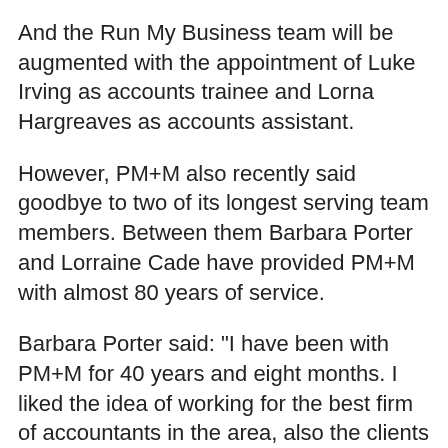And the Run My Business team will be augmented with the appointment of Luke Irving as accounts trainee and Lorna Hargreaves as accounts assistant.
However, PM+M also recently said goodbye to two of its longest serving team members. Between them Barbara Porter and Lorraine Cade have provided PM+M with almost 80 years of service.
Barbara Porter said: "I have been with PM+M for 40 years and eight months. I liked the idea of working for the best firm of accountants in the area, also the clients and mix of work I have had the opportunity to work with and on.
"I'll miss the people and feeling that that I may have